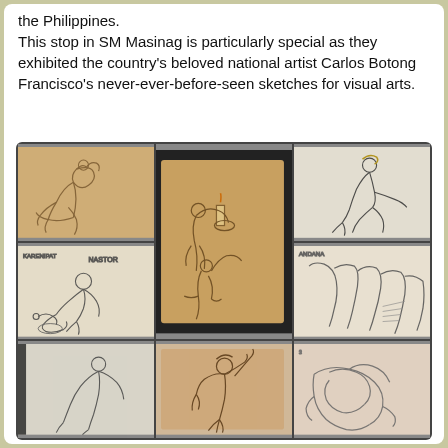the Philippines.
This stop in SM Masinag is particularly special as they exhibited the country's beloved national artist Carlos Botong Francisco's never-ever-before-seen sketches for visual arts.
[Figure (photo): A collage of 8 photographs showing pencil/charcoal sketches by Carlos Botong Francisco displayed in frames at SM Masinag. The sketches depict various human figures in different poses — seated figures, working figures, abstract outlines, and a figure with raised arms.]